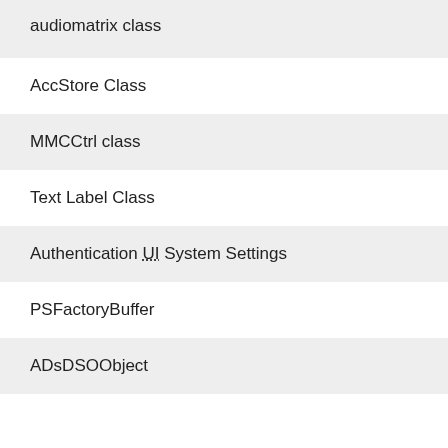audiomatrix class
AccStore Class
MMCCtrl class
Text Label Class
Authentication UI System Settings
PSFactoryBuffer
ADsDSOObject